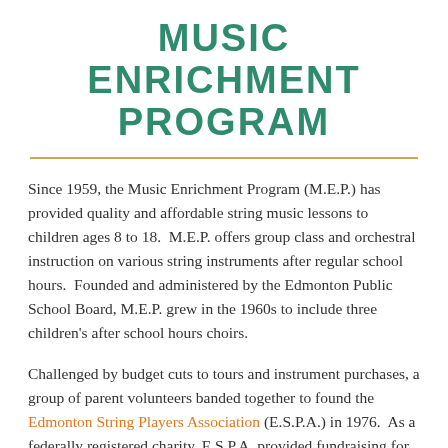MUSIC ENRICHMENT PROGRAM
Since 1959, the Music Enrichment Program (M.E.P.) has provided quality and affordable string music lessons to children ages 8 to 18.  M.E.P. offers group class and orchestral instruction on various string instruments after regular school hours.  Founded and administered by the Edmonton Public School Board, M.E.P. grew in the 1960s to include three children's after school hours choirs.
Challenged by budget cuts to tours and instrument purchases, a group of parent volunteers banded together to found the Edmonton String Players Association (E.S.P.A.) in 1976.  As a federally registered charity, E.S.P.A. provided fundraising for the Music Enrichment Program to pay for tours, workshops, seminars, some stringed instruments